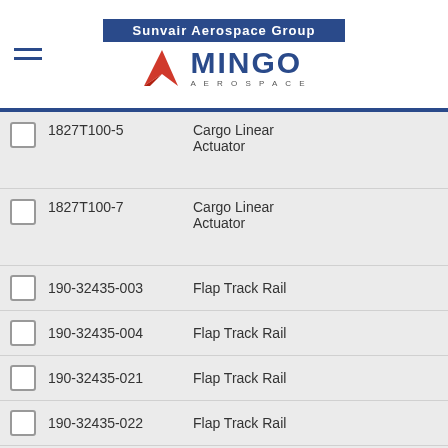Sunvair Aerospace Group – Mingo Aerospace
1827T100-5 | Cargo Linear Actuator
1827T100-7 | Cargo Linear Actuator
190-32435-003 | Flap Track Rail
190-32435-004 | Flap Track Rail
190-32435-021 | Flap Track Rail
190-32435-022 | Flap Track Rail
190-32435-031 | Flap Track Rail
190-32435-032 | Flap Track Rail
190-38100-001 | Flap Track Rail
190-38100-002 | Flap Track Rail